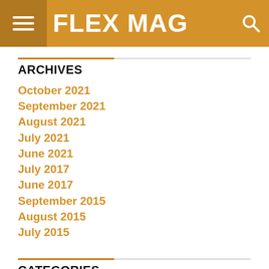FLEX MAG
ARCHIVES
October 2021
September 2021
August 2021
July 2021
June 2021
July 2017
June 2017
September 2015
August 2015
July 2015
CATEGORIES
Business
E Books
Entertainment
Fashion
Politics